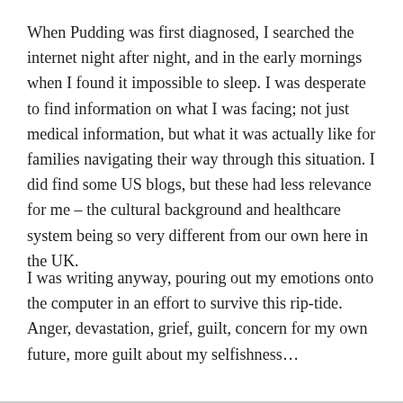When Pudding was first diagnosed, I searched the internet night after night, and in the early mornings when I found it impossible to sleep. I was desperate to find information on what I was facing; not just medical information, but what it was actually like for families navigating their way through this situation. I did find some US blogs, but these had less relevance for me – the cultural background and healthcare system being so very different from our own here in the UK.
I was writing anyway, pouring out my emotions onto the computer in an effort to survive this rip-tide. Anger, devastation, grief, guilt, concern for my own future, more guilt about my selfishness…